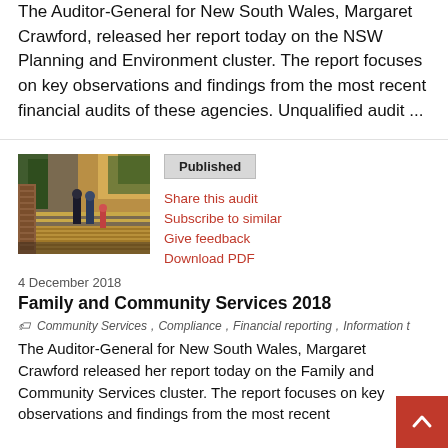The Auditor-General for New South Wales, Margaret Crawford, released her report today on the NSW Planning and Environment cluster. The report focuses on key observations and findings from the most recent financial audits of these agencies. Unqualified audit ...
[Figure (photo): Outdoor photo of a family walking across a wooden footbridge with trees and brick pillar in warm afternoon light]
Published
Share this audit
Subscribe to similar
Give feedback
Download PDF
4 December 2018
Family and Community Services 2018
Community Services , Compliance , Financial reporting , Information t
The Auditor-General for New South Wales, Margaret Crawford released her report today on the Family and Community Services cluster. The report focuses on key observations and findings from the most recent